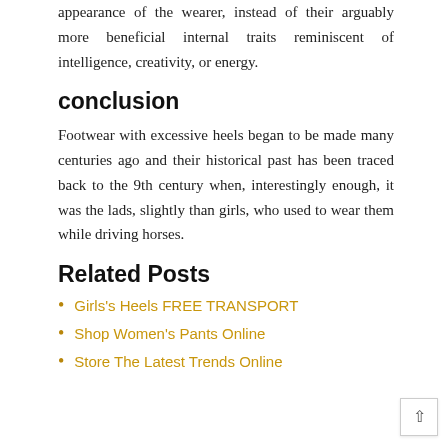appearance of the wearer, instead of their arguably more beneficial internal traits reminiscent of intelligence, creativity, or energy.
conclusion
Footwear with excessive heels began to be made many centuries ago and their historical past has been traced back to the 9th century when, interestingly enough, it was the lads, slightly than girls, who used to wear them while driving horses.
Related Posts
Girls's Heels FREE TRANSPORT
Shop Women's Pants Online
Store The Latest Trends Online